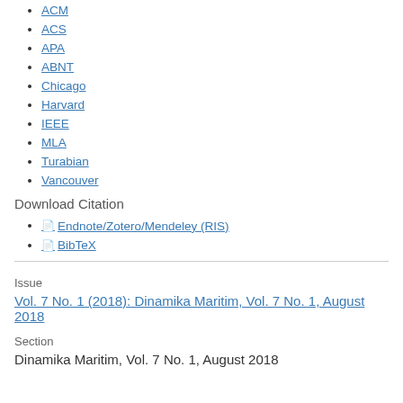ACM
ACS
APA
ABNT
Chicago
Harvard
IEEE
MLA
Turabian
Vancouver
Download Citation
Endnote/Zotero/Mendeley (RIS)
BibTeX
Issue
Vol. 7 No. 1 (2018): Dinamika Maritim, Vol. 7 No. 1, August 2018
Section
Dinamika Maritim, Vol. 7 No. 1, August 2018